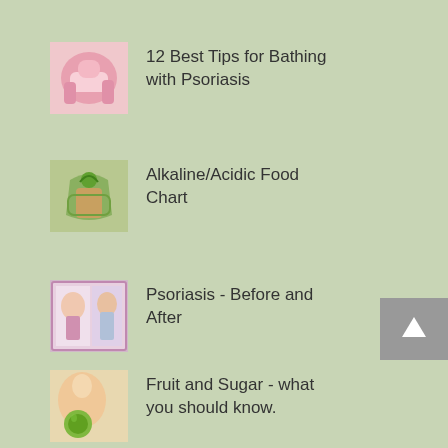[Figure (photo): Thumbnail image of hands/pink towel related to bathing with psoriasis]
12 Best Tips for Bathing with Psoriasis
[Figure (photo): Thumbnail image of vegetables/food basket for alkaline/acidic food chart]
Alkaline/Acidic Food Chart
[Figure (photo): Thumbnail image related to psoriasis before and after]
Psoriasis - Before and After
[Figure (photo): Thumbnail image of woman holding green apple about fruit and sugar]
Fruit and Sugar - what you should know.